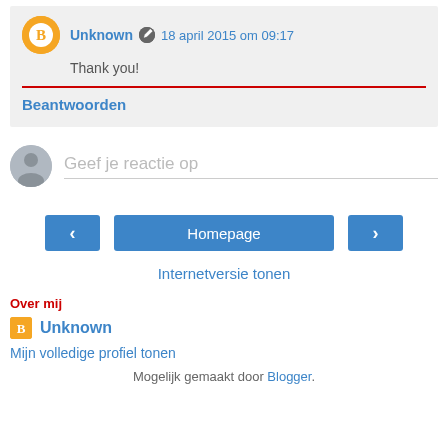Unknown 18 april 2015 om 09:17 – Thank you!
Beantwoorden
Geef je reactie op
‹   Homepage   ›
Internetversie tonen
Over mij
Unknown
Mijn volledige profiel tonen
Mogelijk gemaakt door Blogger.